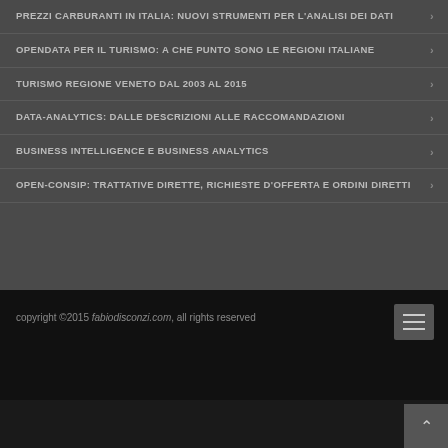PREZZI CARBURANTI IN ITALIA: NUOVI STRUMENTI PER L'ANALISI DEI DATI
OPENDATA PER IL TURISMO: A CHE PUNTO SONO LE REGIONI ITALIANE
TURISMO REGIONE VENETO DAL 2003 AL 2015
DATA-ANALYTICS: DALLE DESCRIZIONI ALLE RACCOMANDAZIONI
BUSINESS INTELLIGENCE E BUSINESS ANALYTICS
OPEN-CONSIP: TRATTATIVE DIRETTE, RICHIESTE D'OFFERTA E ORDINI DIRETTI
copyright ©2015 fabiodisconzi.com, all rights reserved